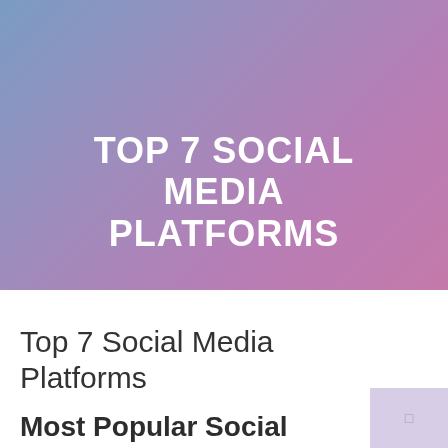[Figure (illustration): Gradient background banner with blue-to-purple gradient and bold white text reading TOP 7 SOCIAL MEDIA PLATFORMS]
Top 7 Social Media Platforms
Most Popular Social